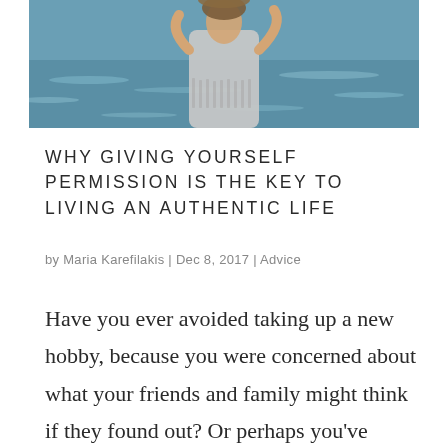[Figure (photo): A woman in a light grey fringe dress with hat raised on her head, standing in front of ocean/sea water, photographed from mid-torso up.]
WHY GIVING YOURSELF PERMISSION IS THE KEY TO LIVING AN AUTHENTIC LIFE
by Maria Karefilakis | Dec 8, 2017 | Advice
Have you ever avoided taking up a new hobby, because you were concerned about what your friends and family might think if they found out? Or perhaps you've wanted to put